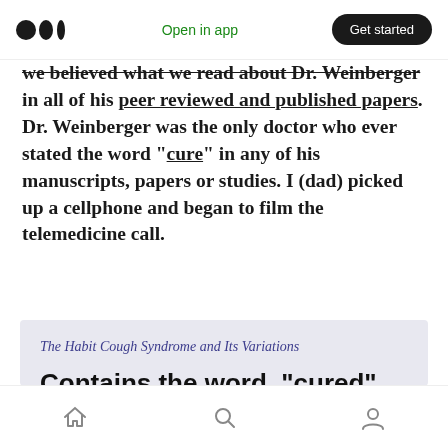Medium logo | Open in app | Get started
we believed what we read about Dr. Weinberger in all of his peer reviewed and published papers. Dr. Weinberger was the only doctor who ever stated the word "cure" in any of his manuscripts, papers or studies. I (dad) picked up a cellphone and began to film the telemedicine call.
[Figure (screenshot): Card excerpt showing italic heading 'The Habit Cough Syndrome and Its Variations' and bold text 'Contains the word, "cured" (This is big news)']
Home | Search | Profile navigation icons